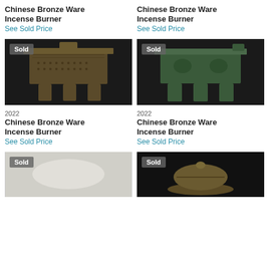Chinese Bronze Ware Incense Burner
See Sold Price
Chinese Bronze Ware Incense Burner
See Sold Price
[Figure (photo): Chinese bronze ware incense burner on dark background, with Sold badge, year 2022]
[Figure (photo): Chinese bronze ware incense burner on dark background, with Sold badge, year 2022]
2022
Chinese Bronze Ware Incense Burner
See Sold Price
2022
Chinese Bronze Ware Incense Burner
See Sold Price
[Figure (photo): Blurry/light-colored item with Sold badge, partially visible]
[Figure (photo): Bronze decorative incense burner with bird on top, dark background, Sold badge]